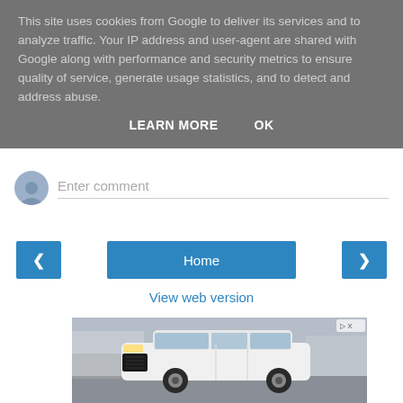This site uses cookies from Google to deliver its services and to analyze traffic. Your IP address and user-agent are shared with Google along with performance and security metrics to ensure quality of service, generate usage statistics, and to detect and address abuse.
LEARN MORE
OK
Enter comment
‹
Home
›
View web version
[Figure (photo): Advertisement showing a white Cadillac XT4 SUV parked in a lot, photographed from the front-left angle.]